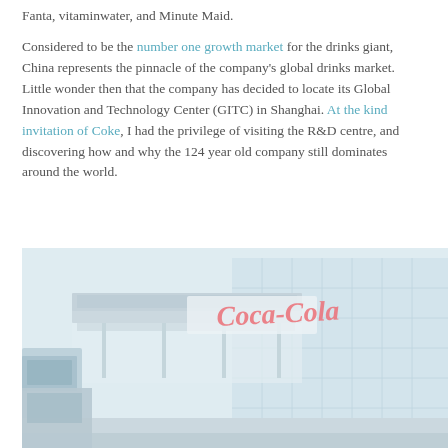Fanta, vitaminwater, and Minute Maid.
Considered to be the number one growth market for the drinks giant, China represents the pinnacle of the company's global drinks market. Little wonder then that the company has decided to locate its Global Innovation and Technology Center (GITC) in Shanghai. At the kind invitation of Coke, I had the privilege of visiting the R&D centre, and discovering how and why the 124 year old company still dominates around the world.
[Figure (photo): Exterior photo of the Coca-Cola Global Innovation and Technology Center (GITC) building in Shanghai, showing a modern glass and concrete structure with the Coca-Cola logo displayed prominently on the facade.]